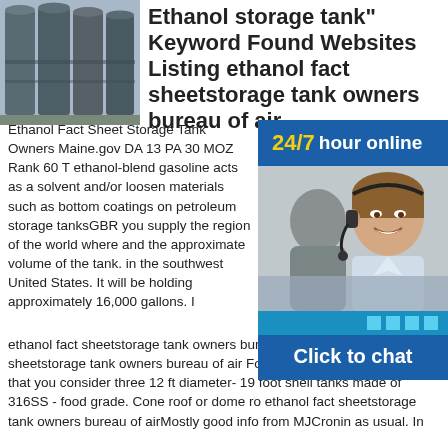[Figure (photo): Photo of industrial ethanol storage tanks, large cylindrical gray metal tanks]
Ethanol storage tank" Keyword Found Websites Listing ethanol fact sheetstorage tank owners bureau of air
[Figure (infographic): 24/7 hour online chat widget with photo of smiling woman with headset and Click to chat button]
Ethanol Fact Sheet Storage Tank Owners Maine.gov DA 13 PA 30 MOZ Rank 60 The ethanol-blend gasoline acts as a solvent and/or loosen materials such as bottom coatings on petroleum storage tanksGBR you supply the region of the world where and the approximate volume of the tank. in the southwest United States. It will be holding approximately 16,000 gallons. I ethanol fact sheetstorage tank owners bureau of airGBR12 ethanol fact sheetstorage tank owners bureau of air For ~16,000 gallons,suggest that you consider three 12 ft diameter- 19 foot shell tanks made of 316SS - food grade. Cone roof or dome ro ethanol fact sheetstorage tank owners bureau of airMostly good info from MJCronin as usual. In